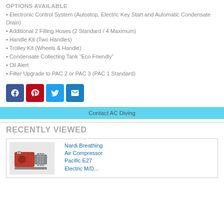OPTIONS AVAILABLE
• Electronic Control System (Autostop, Electric Key Start and Automatic Condensate Drain)
• Additional 2 Filling Hoses (2 Standard / 4 Maximum)
• Handle Kit (Two Handles)
• Trolley Kit (Wheels & Handle)
• Condensate Collecting Tank “Eco Friendly”
• Oil Alert
• Filter Upgrade to PAC 2 or PAC 3 (PAC 1 Standard)
[Figure (infographic): Social share buttons: Facebook, Pinterest, Twitter, Email]
Contact AC Diving
RECENTLY VIEWED
[Figure (photo): Nardi Breathing Air Compressor Pacific E27 product thumbnail]
Nardi Breathing Air Compressor Pacific E27 Electric M/D...